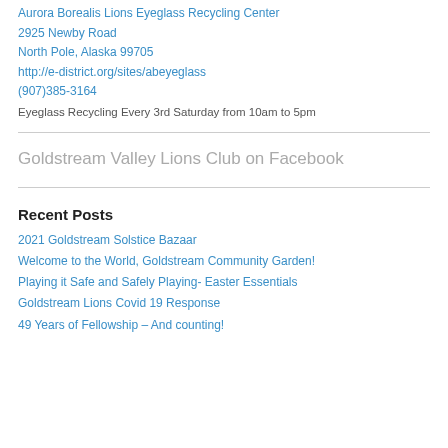Aurora Borealis Lions Eyeglass Recycling Center
2925 Newby Road
North Pole, Alaska 99705
http://e-district.org/sites/abeyeglass
(907)385-3164
Eyeglass Recycling Every 3rd Saturday from 10am to 5pm
Goldstream Valley Lions Club on Facebook
Recent Posts
2021 Goldstream Solstice Bazaar
Welcome to the World, Goldstream Community Garden!
Playing it Safe and Safely Playing- Easter Essentials
Goldstream Lions Covid 19 Response
49 Years of Fellowship – And counting!